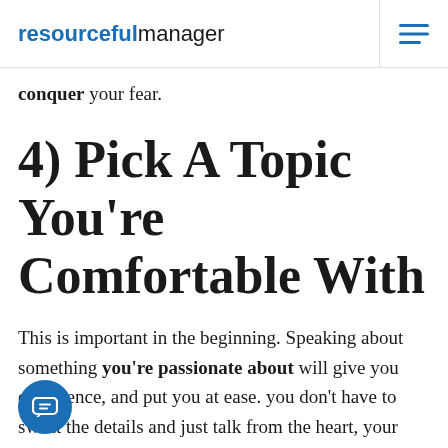resourcefulmanager
conquer your fear.
4) Pick A Topic You're Comfortable With
This is important in the beginning. Speaking about something you're passionate about will give you confidence, and put you at ease. you don't have to sweat the details and just talk from the heart, your stress level